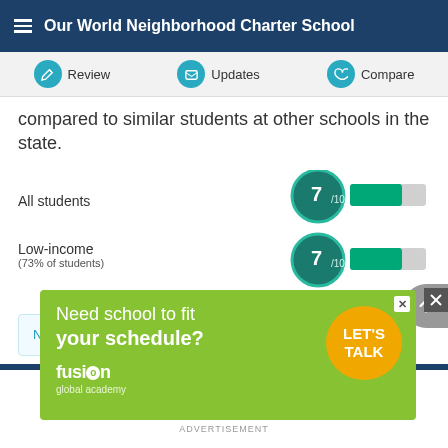Our World Neighborhood Charter School
Review | Updates | Compare
compared to similar students at other schools in the state.
[Figure (bar-chart): All students score]
Notice something missing or confusing?
[Figure (illustration): Advertisement for Fusion Global Academy: Need school to fit your schedule? LET'S TALK]
ADVERTISEMENT